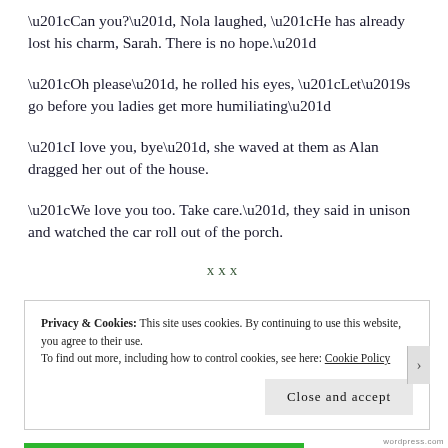“Can you?”, Nola laughed, “He has already lost his charm, Sarah. There is no hope.”
“Oh please”, he rolled his eyes, “Let’s go before you ladies get more humiliating”
“I love you, bye”, she waved at them as Alan dragged her out of the house.
“We love you too. Take care.”, they said in unison and watched the car roll out of the porch.
xxx
Privacy & Cookies: This site uses cookies. By continuing to use this website, you agree to their use.
To find out more, including how to control cookies, see here: Cookie Policy